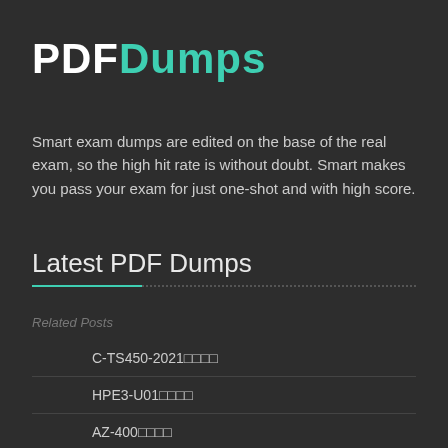[Figure (logo): PDFDumps logo with PDF in white bold text and Dumps in teal/green bold text]
Smart exam dumps are edited on the base of the real exam, so the high hit rate is without doubt. Smart makes you pass your exam for just one-shot and with high score.
Latest PDF Dumps
Related Posts
C-TS450-2021□□□□
HPE3-U01□□□□
AZ-400□□□□
C-THR96-2111□□□□